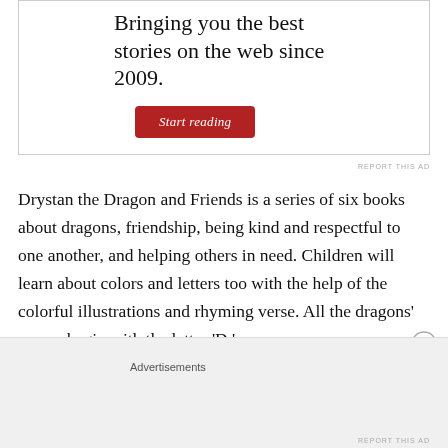[Figure (other): Advertisement banner with text 'Bringing you the best stories on the web since 2009.' and a red 'Start reading' button]
REPORT THIS AD
Drystan the Dragon and Friends is a series of six books about dragons, friendship, being kind and respectful to one another, and helping others in need. Children will learn about colors and letters too with the help of the colorful illustrations and rhyming verse. All the dragons' names begin with the letter 'D.'
Advertisements
REPORT THIS AD